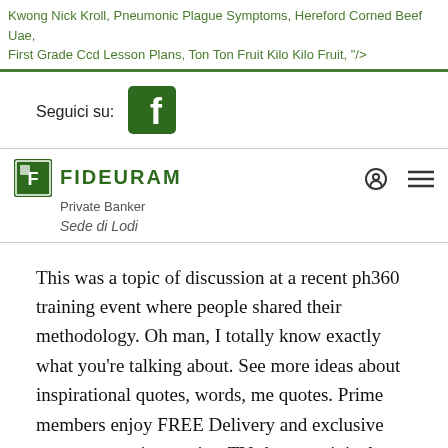Kwong Nick Kroll, Pneumonic Plague Symptoms, Hereford Corned Beef Uae, First Grade Ccd Lesson Plans, Ton Ton Fruit Kilo Kilo Fruit, "/>
Seguici su:
[Figure (logo): Facebook logo icon, white f on dark green background]
[Figure (logo): Fideuram Private Banker logo with green shield icon and text]
Sede di Lodi
This was a topic of discussion at a recent ph360 training event where people shared their methodology. Oh man, I totally know exactly what you’re talking about. See more ideas about inspirational quotes, words, me quotes. Prime members enjoy FREE Delivery and exclusive access to music, movies, TV shows, original audio series, and Kindle books. (clap your hands, stamp your feet, slap your knees stamp your feet Sometimes you want to slap them silly. For more